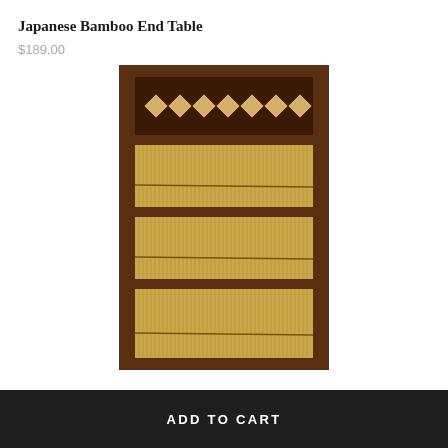Japanese Bamboo End Table
$189.00
[Figure (photo): Japanese Bamboo End Table product photo showing a tall narrow wooden frame piece with dark brown wood frame featuring a decorative lattice/diamond pattern near the top and vertical bamboo slats filling three shelf sections below, separated by horizontal dark wood rails.]
ADD TO CART